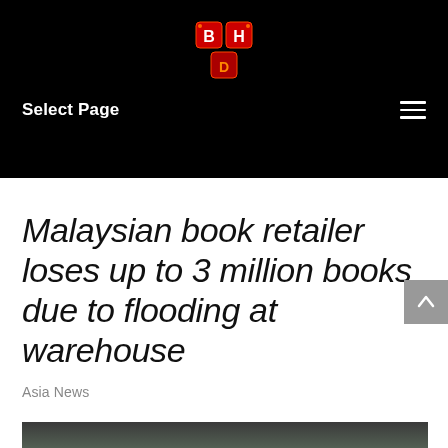[Figure (logo): Red and orange stylized logo mark on black background, appears to be stacked letters with decorative styling]
Select Page
Malaysian book retailer loses up to 3 million books due to flooding at warehouse
Asia News
[Figure (photo): Outdoor photograph showing trees and sky, partially visible at bottom of page]